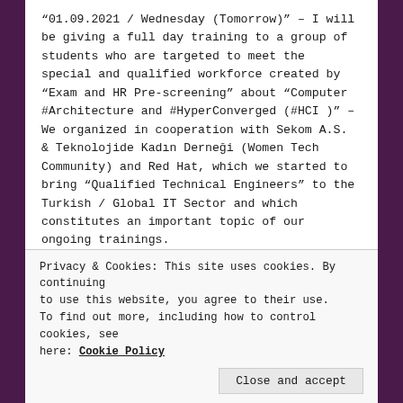“01.09.2021 / Wednesday (Tomorrow)” – I will be giving a full day training to a group of students who are targeted to meet the special and qualified workforce created by “Exam and HR Pre-screening” about “Computer #Architecture and #HyperConverged (#HCI )” – We organized in cooperation with Sekom A.S. & Teknolojide Kadın Derneği (Women Tech Community) and Red Hat, which we started to bring “Qualified Technical Engineers” to the Turkish / Global IT Sector and which constitutes an important topic of our ongoing trainings.
Privacy & Cookies: This site uses cookies. By continuing to use this website, you agree to their use. To find out more, including how to control cookies, see here: Cookie Policy
Close and accept